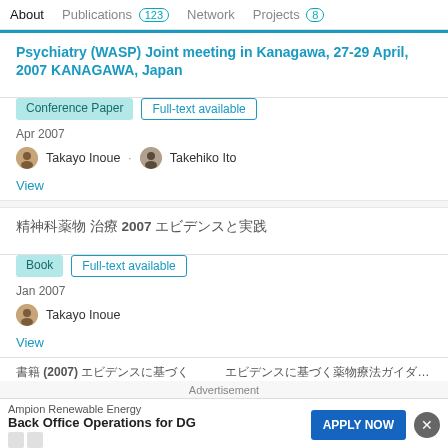About   Publications 123   Network   Projects 8
Psychiatry (WASP) Joint meeting in Kanagawa, 27-29 April, 2007 KANAGAWA, Japan
Conference Paper · Full-text available
Apr 2007
Takayo Inoue · Takehiko Ito
View
精神科薬物 治療 2007 エビデンスと実践 (Japanese text)
Book · Full-text available
Jan 2007
Takayo Inoue
View
Advertisement
Ampion Renewable Energy  Back Office Operations for DG  APPLY NOW